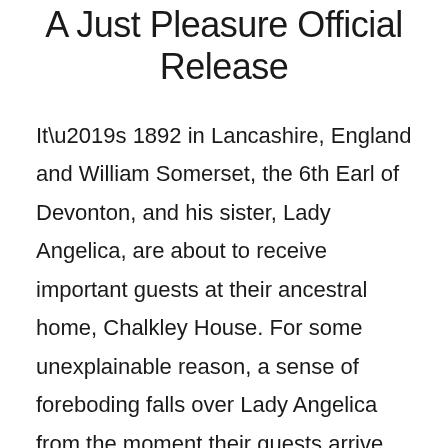A Just Pleasure Official Release
It’s 1892 in Lancashire, England and William Somerset, the 6th Earl of Devonton, and his sister, Lady Angelica, are about to receive important guests at their ancestral home, Chalkley House. For some unexplainable reason, a sense of foreboding falls over Lady Angelica from the moment their guests arrive. When murder eventually invades Chalkley